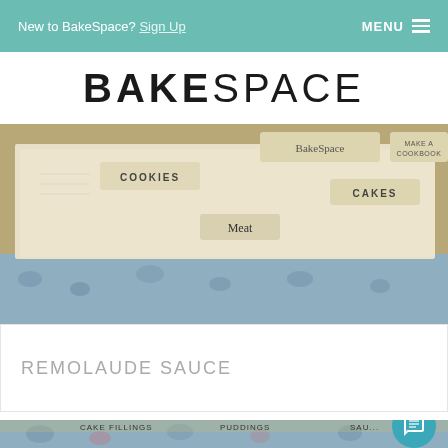New to BakeSpace? Sign Up   MENU ≡
BAKESPACE
[Figure (photo): Recipe card file box with tabbed dividers labeled COOKIES, CAKES, MEAT, BakeSpace, MAKE A COOKBOOK]
REMOLAUDE SAUCE
[Figure (photo): Recipe card file box with tabbed dividers labeled CAKE FILLINGS, PUDDINGS, FROSTINGS, SAUCES, SWAP RECIPES, CANDIES, BakeSpace, MAKE A COOKBOOK]